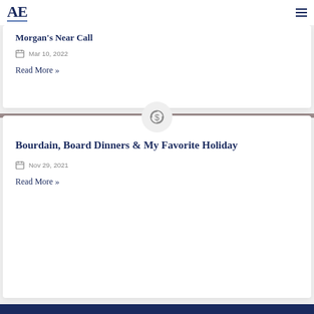AE
Morgan's Near Call
Mar 10, 2022
Read More »
[Figure (illustration): Dollar sign refresh/exchange icon in a light grey circle]
Bourdain, Board Dinners & My Favorite Holiday
Nov 29, 2021
Read More »